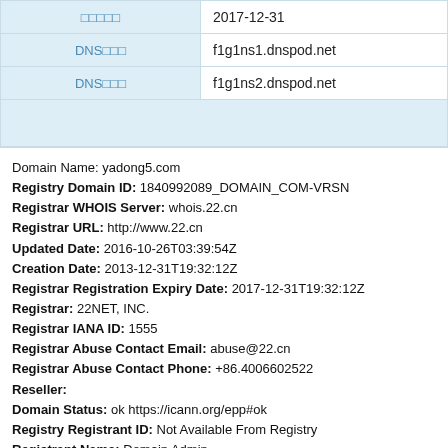| □□□□□ | 2017-12-31 |
| DNS□□□ | f1g1ns1.dnspod.net |
| DNS□□□ | f1g1ns2.dnspod.net |
|  |  |
Domain Name: yadong5.com
Registry Domain ID: 1840992089_DOMAIN_COM-VRSN
Registrar WHOIS Server: whois.22.cn
Registrar URL: http://www.22.cn
Updated Date: 2016-10-26T03:39:54Z
Creation Date: 2013-12-31T19:32:12Z
Registrar Registration Expiry Date: 2017-12-31T19:32:12Z
Registrar: 22NET, INC.
Registrar IANA ID: 1555
Registrar Abuse Contact Email: abuse@22.cn
Registrar Abuse Contact Phone: +86.4006602522
Reseller:
Domain Status: ok https://icann.org/epp#ok
Registry Registrant ID: Not Available From Registry
Registrant Name: Domain Admin
Registrant Organization: Information Privacy Protection Services Li
Registrant Street: Unit5, 27/F., Richmond Comm. Bldg., 109 Argyle
Registrant City: HongKong
Registrant State/Province: HongKong